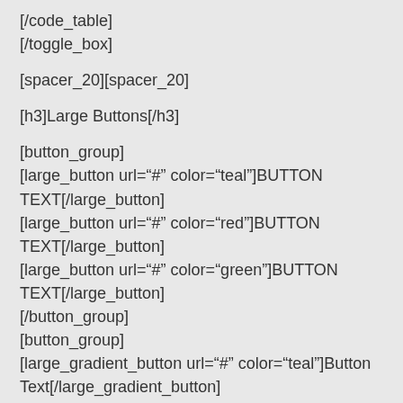[/code_table]
[/toggle_box]
[spacer_20][spacer_20]
[h3]Large Buttons[/h3]
[button_group]
[large_button url="#" color="teal"]BUTTON TEXT[/large_button]
[large_button url="#" color="red"]BUTTON TEXT[/large_button]
[large_button url="#" color="green"]BUTTON TEXT[/large_button]
[/button_group]
[button_group]
[large_gradient_button url="#" color="teal"]Button Text[/large_gradient_button]
[large_gradient_button url="#" color="red"]Button